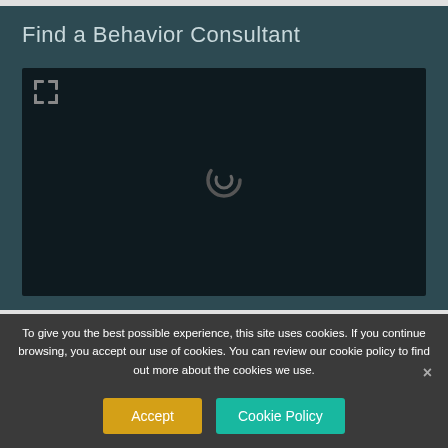Find a Behavior Consultant
[Figure (other): Dark video embed area with loading spinner and expand icon in top-left corner]
To give you the best possible experience, this site uses cookies. If you continue browsing, you accept our use of cookies. You can review our cookie policy to find out more about the cookies we use.
Accept
Cookie Policy